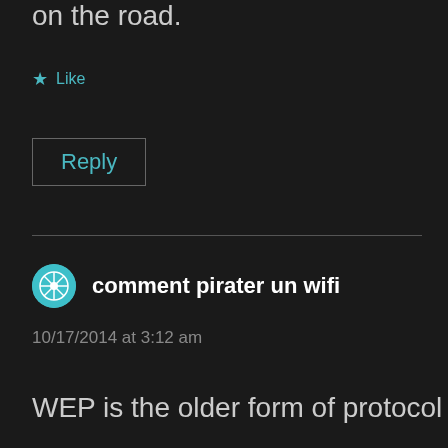on the road.
★ Like
Reply
comment pirater un wifi
10/17/2014 at 3:12 am
WEP is the older form of protocol